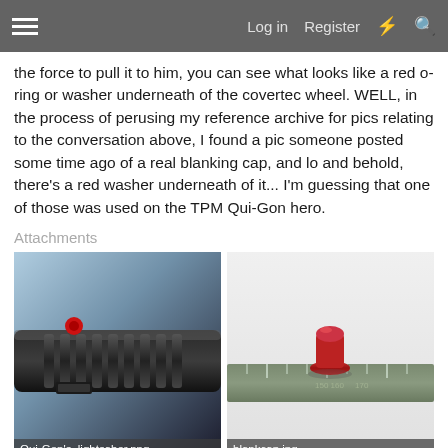Log in   Register
the force to pull it to him, you can see what looks like a red o-ring or washer underneath of the covertec wheel. WELL, in the process of perusing my reference archive for pics relating to the conversation above, I found a pic someone posted some time ago of a real blanking cap, and lo and behold, there's a red washer underneath of it... I'm guessing that one of those was used on the TPM Qui-Gon hero.
Attachments
[Figure (photo): Close-up photo of a lightsaber hilt showing ribbed grip and a red button/covertec wheel area. Filename: Qui-Gon's_lightsaber.png]
[Figure (photo): Close-up photo of a red blanking cap/washer on a ruler measuring tool. Filename: blankcap.jpg]